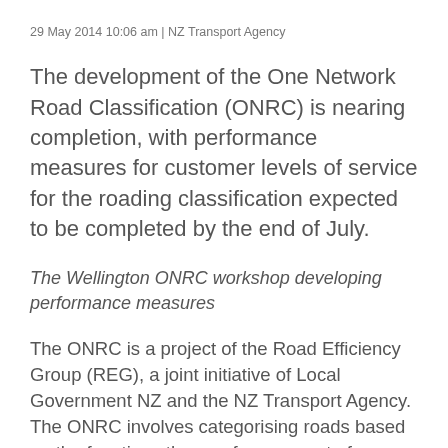29 May 2014 10:06 am | NZ Transport Agency
The development of the One Network Road Classification (ONRC) is nearing completion, with performance measures for customer levels of service for the roading classification expected to be completed by the end of July.
The Wellington ONRC workshop developing performance measures
The ONRC is a project of the Road Efficiency Group (REG), a joint initiative of Local Government NZ and the NZ Transport Agency. The ONRC involves categorising roads based on the functions they perform as part of an integrated national network. The classification will help local government and the Transport Agency to plan, invest in, maintain and operate the road network in a more